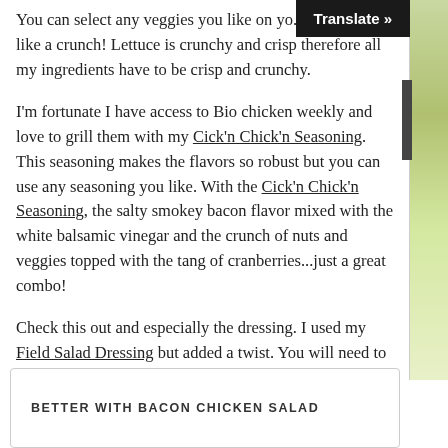You can select any veggies you like on yo... but for me, I like a crunch! Lettuce is crunchy and crisp therefore all my ingredients have to be crisp and crunchy.
I'm fortunate I have access to Bio chicken weekly and love to grill them with my Cick'n Chick'n Seasoning. This seasoning makes the flavors so robust but you can use any seasoning you like. With the Cick'n Chick'n Seasoning, the salty smokey bacon flavor mixed with the white balsamic vinegar and the crunch of nuts and veggies topped with the tang of cranberries...just a great combo!
Check this out and especially the dressing. I used my Field Salad Dressing but added a twist. You will need to whip up some Fool Proof Mayo or purchase an organic brand (watch the soy).
BETTER WITH BACON CHICKEN SALAD